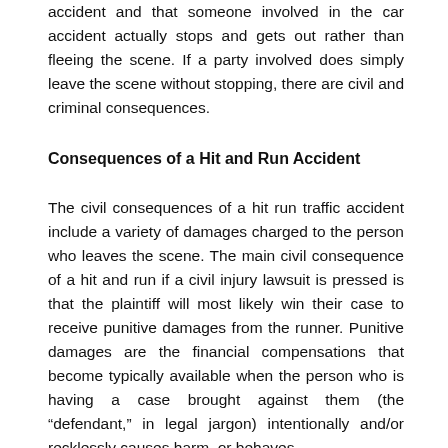accident and that someone involved in the car accident actually stops and gets out rather than fleeing the scene. If a party involved does simply leave the scene without stopping, there are civil and criminal consequences.
Consequences of a Hit and Run Accident
The civil consequences of a hit run traffic accident include a variety of damages charged to the person who leaves the scene. The main civil consequence of a hit and run if a civil injury lawsuit is pressed is that the plaintiff will most likely win their case to receive punitive damages from the runner. Punitive damages are the financial compensations that become typically available when the person who is having a case brought against them (the “defendant,” in legal jargon) intentionally and/or recklessly causes harm, or behaves